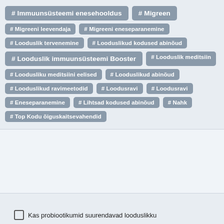# Immuunsüsteemi enesehooldus
# Migreen
# Migreeni leevendaja
# Migreeni eneseparanemine
# Looduslik tervenemine
# Looduslikud kodused abinõud
# Looduslik immuunsüsteemi Booster
# Looduslik meditsiin
# Loodusliku meditsiini eelised
# Looduslikud abinõud
# Looduslikud ravimeetodid
# Loodusravi
# Loodusravi
# Eneseparanemine
# Lihtsad kodused abinõud
# Nahk
# Top Kodu õiguskaitsevahendid
Kas probiootikumid suurendavad looduslikku